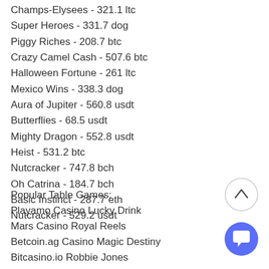Champs-Elysees - 321.1 ltc
Super Heroes - 331.7 dog
Piggy Riches - 208.7 btc
Crazy Camel Cash - 507.6 btc
Halloween Fortune - 261 ltc
Mexico Wins - 338.3 dog
Aura of Jupiter - 560.8 usdt
Butterflies - 68.5 usdt
Mighty Dragon - 552.8 usdt
Heist - 531.2 btc
Nutcracker - 747.8 bch
Oh Catrina - 184.7 bch
Basic Instinct - 287.7 eth
Nutcracker - 529.2 usdt
Popular Table Games:
Playamo Casino Lucky Drink
Mars Casino Royal Reels
Betcoin.ag Casino Magic Destiny
Bitcasino.io Robbie Jones